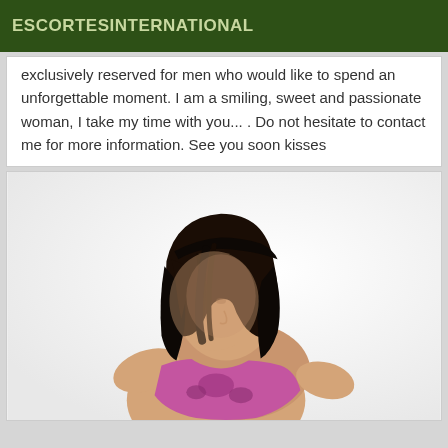ESCORTESINTERNATIONAL
exclusively reserved for men who would like to spend an unforgettable moment. I am a smiling, sweet and passionate woman, I take my time with you... . Do not hesitate to contact me for more information. See you soon kisses
[Figure (photo): Woman with short dark black hair wearing a pink/purple dress or top, posed with back partially turned, on a white background.]